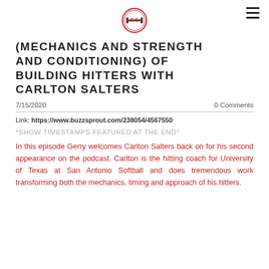[Challenger Strength logo] [hamburger menu]
(MECHANICS AND STRENGTH AND CONDITIONING) OF BUILDING HITTERS WITH CARLTON SALTERS
7/15/2020    0 Comments
Link: https://www.buzzsprout.com/238054/4567550
*SHOW TIMESTAMPS FEATURED AT THE END*
In this episode Gerry welcomes Carlton Salters back on for his second appearance on the podcast. Carlton is the hitting coach for University of Texas at San Antonio Softball and does tremendous work transforming both the mechanics, timing and approach of his hitters.